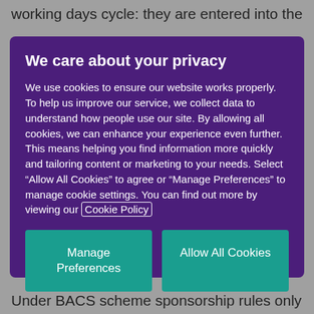working days cycle: they are entered into the
We care about your privacy
We use cookies to ensure our website works properly. To help us improve our service, we collect data to understand how people use our site. By allowing all cookies, we can enhance your experience even further. This means helping you find information more quickly and tailoring content or marketing to your needs. Select “Allow All Cookies” to agree or “Manage Preferences” to manage cookie settings. You can find out more by viewing our Cookie Policy
Manage Preferences
Allow All Cookies
Under BACS scheme sponsorship rules only